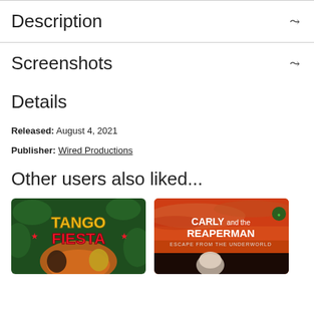Description
Screenshots
Details
Released: August 4, 2021
Publisher: Wired Productions
Other users also liked...
[Figure (screenshot): Tango Fiesta game cover art showing stylized action game characters on green background]
[Figure (screenshot): Carly and the Reaperman: Escape from the Underworld game cover art with orange/red sky background]